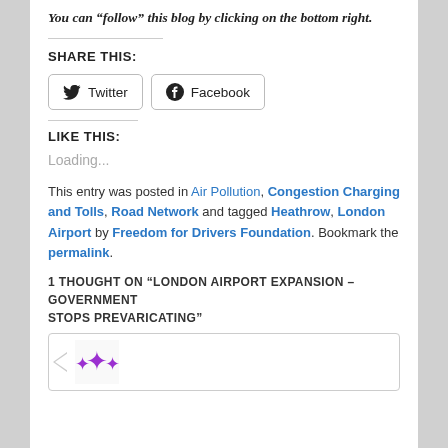You can “follow” this blog by clicking on the bottom right.
SHARE THIS:
[Figure (other): Twitter and Facebook social share buttons]
LIKE THIS:
Loading...
This entry was posted in Air Pollution, Congestion Charging and Tolls, Road Network and tagged Heathrow, London Airport by Freedom for Drivers Foundation. Bookmark the permalink.
1 THOUGHT ON “LONDON AIRPORT EXPANSION – GOVERNMENT STOPS PREVARICATING”
[Figure (other): Comment box with purple avatar icon]